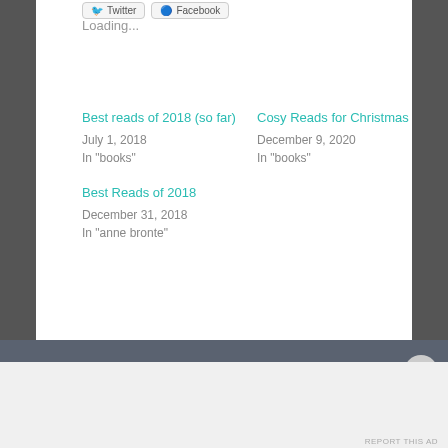[Figure (screenshot): Twitter and Facebook share buttons at top of page]
Loading...
Best reads of 2018 (so far)
July 1, 2018
In "books"
Cosy Reads for Christmas
December 9, 2020
In "books"
Best Reads of 2018
December 31, 2018
In "anne bronte"
Advertisements
[Figure (logo): P2 logo with icon]
Getting your team on the same page is easy. And free.
REPORT THIS AD